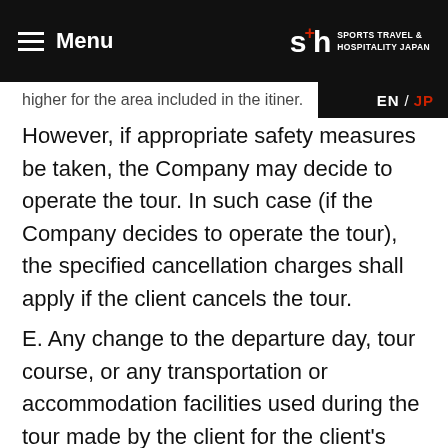Menu | SPORTS TRAVEL & HOSPITALITY JAPAN | EN / JP
higher for the area included in the itiner. However, if appropriate safety measures be taken, the Company may decide to operate the tour. In such case (if the Company decides to operate the tour), the specified cancellation charges shall apply if the client cancels the tour. E. Any change to the departure day, tour course, or any transportation or accommodation facilities used during the tour made by the client for the client's own reasons shall be treated as the cancellation of the entire tour, and the specified cancellation charges shall apply.